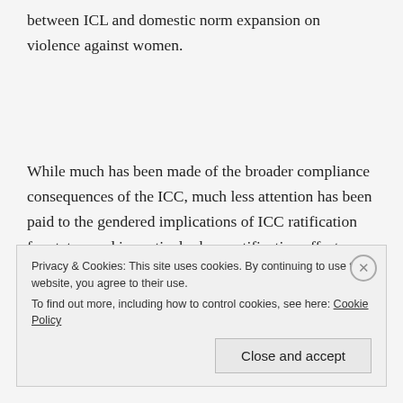between ICL and domestic norm expansion on violence against women.
While much has been made of the broader compliance consequences of the ICC, much less attention has been paid to the gendered implications of ICC ratification for states, and in particular how ratification affects domestic regulation of sex crimes and sexual harms.
Privacy & Cookies: This site uses cookies. By continuing to use this website, you agree to their use.
To find out more, including how to control cookies, see here: Cookie Policy